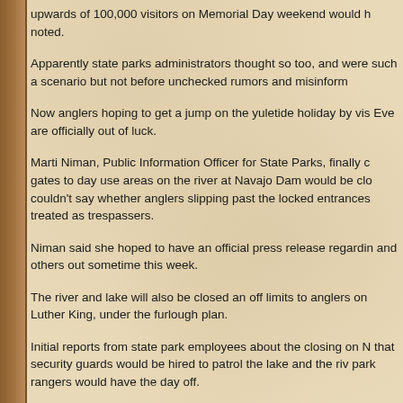upwards of 100,000 visitors on Memorial Day weekend would have noted.
Apparently state parks administrators thought so too, and were such a scenario but not before unchecked rumors and misinform...
Now anglers hoping to get a jump on the yuletide holiday by vis... Eve are officially out of luck.
Marti Niman, Public Information Officer for State Parks, finally c... gates to day use areas on the river at Navajo Dam would be clo... couldn't say whether anglers slipping past the locked entrances... treated as trespassers.
Niman said she hoped to have an official press release regardin... and others out sometime this week.
The river and lake will also be closed an off limits to anglers on... Luther King, under the furlough plan.
Initial reports from state park employees about the closing on N... that security guards would be hired to patrol the lake and the riv... park rangers would have the day off.